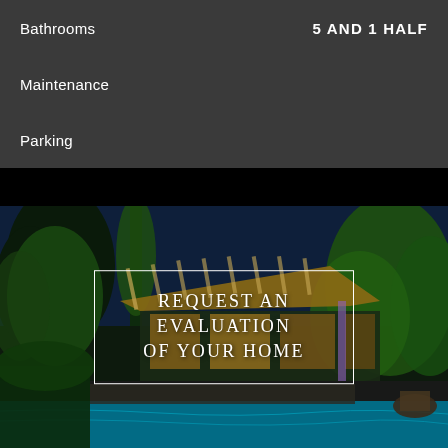Bathrooms    5 AND 1 HALF
Maintenance
Parking
[Figure (photo): Night-time exterior photo of a luxury home with an illuminated pergola/covered outdoor area, green trees lit with accent lighting, a pool in the foreground, and warm interior lights visible through large windows.]
REQUEST AN EVALUATION OF YOUR HOME